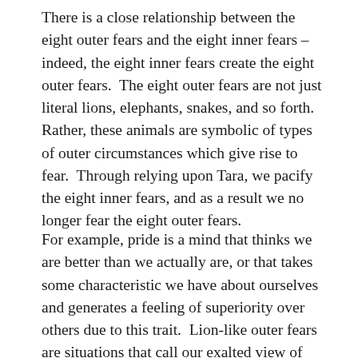There is a close relationship between the eight outer fears and the eight inner fears – indeed, the eight inner fears create the eight outer fears.  The eight outer fears are not just literal lions, elephants, snakes, and so forth.  Rather, these animals are symbolic of types of outer circumstances which give rise to fear.  Through relying upon Tara, we pacify the eight inner fears, and as a result we no longer fear the eight outer fears.
For example, pride is a mind that thinks we are better than we actually are, or that takes some characteristic we have about ourselves and generates a feeling of superiority over others due to this trait.  Lion-like outer fears are situations that call our exalted view of